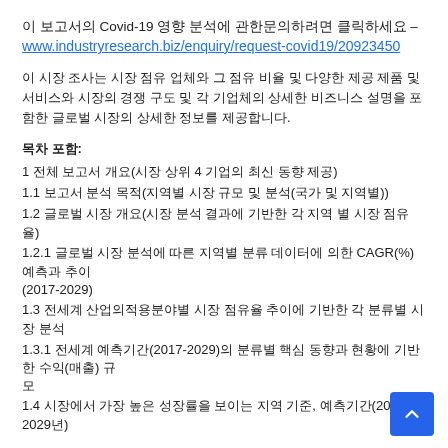이 보고서의 Covid-19 영향 분석에 관한문의하려면 클릭하세요 – www.industryresearch.biz/enquiry/request-covid19/20923450
이 시장 조사는 시장 점유 업체와 그 점유 비율 및 다양한 제공 제품 및 서비스와 시장의 경쟁 구도 및 각 기업체의 상세한 비즈니스 설명을 포함한 글로벌 시장의 상세한 정보를 제공합니다.
목차 포함:
1 전체 보고서 개요(시장 상위 4 기업의 최신 동향 제공)
1.1 보고서 분석 목적(지역별 시장 규모 및 분석(국가 및 지역별))
1.2 글로벌 시장 개요(시장 분석 결과에 기반한 각 지역 별 시장 점유율)
1.2.1 글로벌 시장 분석에 따른 지역별 분류 데이터에 의한 CAGR(%) 예측과 추이 (2017-2029)
1.3 전세계 산업의적용분야별 시장 점유율 추이에 기반한 각 분류별 시장 분석
1.3.1 전세계 예측기간(2017-2029)의 분류별 핵심 동향과 현황에 기반한 수익(매출) 규모
1.4 시장에서 가장 높은 성장률을 보이는 지역 기준, 예측기간(2017-2029년)